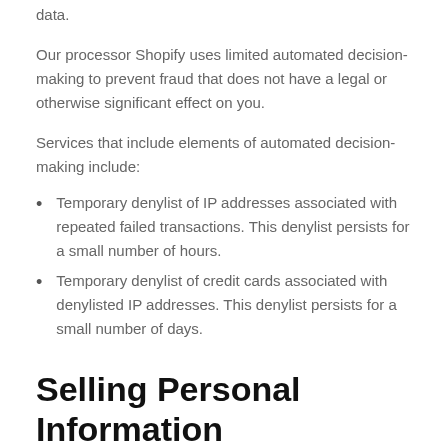data.
Our processor Shopify uses limited automated decision-making to prevent fraud that does not have a legal or otherwise significant effect on you.
Services that include elements of automated decision-making include:
Temporary denylist of IP addresses associated with repeated failed transactions. This denylist persists for a small number of hours.
Temporary denylist of credit cards associated with denylisted IP addresses. This denylist persists for a small number of days.
Selling Personal Information